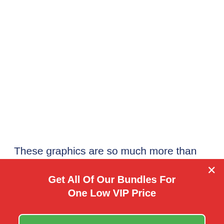These graphics are so much more than just vectors. These artworks can serve as practical templates, marketing graphics, or stand-alone illustrations.
Get All Of Our Bundles For One Low VIP Price
Click Here To View Offer